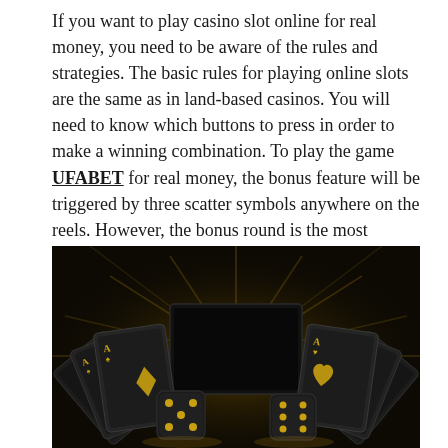If you want to play casino slot online for real money, you need to be aware of the rules and strategies. The basic rules for playing online slots are the same as in land-based casinos. You will need to know which buttons to press in order to make a winning combination. To play the game UFABET for real money, the bonus feature will be triggered by three scatter symbols anywhere on the reels. However, the bonus round is the most popular part of playing these games.
[Figure (photo): Dark casino-themed image showing black playing cards fanned out on both sides, two black dice with gold pips in the foreground, a black rectangular screen/tablet in the center, and golden star-burst light rays emanating from the center background against a dark background.]